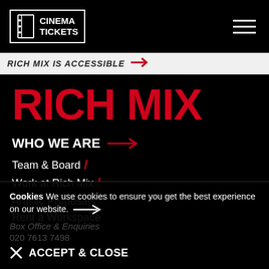CINEMA TICKETS
RICH MIX IS ACCESSIBLE
RICH MIX
WHO WE ARE →
Team & Board /
Work at Rich Mix /
Artistic Proposals /
Rent a Workspace
Cookies We use cookies to ensure you get the best experience on our website. → ACCEPT & CLOSE